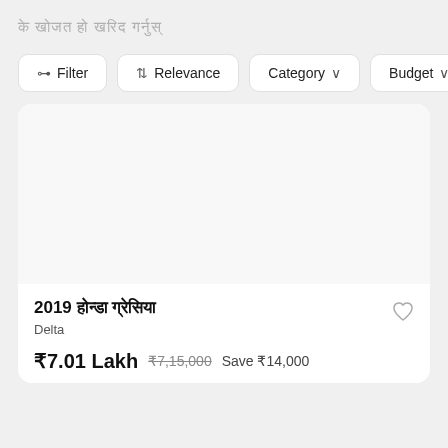के खोजत हो खरिद गर्नुस्
Filter | Relevance | Category | Budget
[Figure (screenshot): White empty card image area for a vehicle listing]
2019 होन्डा ग्रेसिया
Delta
₹7.01 Lakh  ₹7,15,000  Save ₹14,000